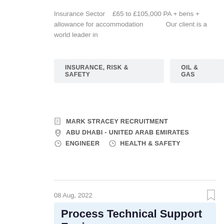Insurance Sector   £65 to £105,000 PA + bens + allowance for accommodation          Our client is a world leader in
INSURANCE, RISK & SAFETY     OIL & GAS
MARK STRACEY RECRUITMENT
ABU DHABI - UNITED ARAB EMIRATES
ENGINEER    HEALTH & SAFETY
08 Aug, 2022
Process Technical Support Engineer
FEATURED
£ Highly Competitive   Hydrocarbons Processing and Distribution Our client operates a medium sized top tier